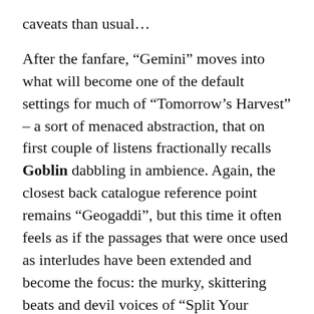caveats than usual…
After the fanfare, “Gemini” moves into what will become one of the default settings for much of “Tomorrow’s Harvest” – a sort of menaced abstraction, that on first couple of listens fractionally recalls Goblin dabbling in ambience. Again, the closest back catalogue reference point remains “Geogaddi”, but this time it often feels as if the passages that were once used as interludes have been extended and become the focus: the murky, skittering beats and devil voices of “Split Your Infinities” runs to four and a half minutes; “White Cyclosa” takes up three minutes when, on “Geogaddi”, one suspects it would’ve been